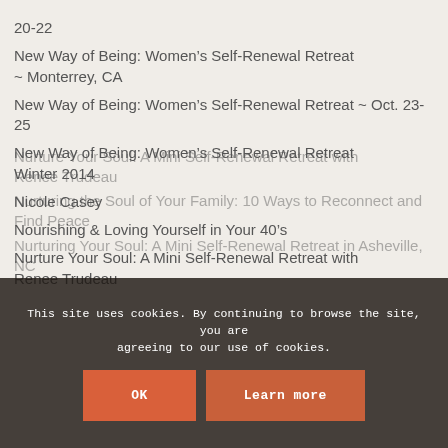20-22
New Way of Being: Women’s Self-Renewal Retreat ~ Monterrey, CA
New Way of Being: Women’s Self-Renewal Retreat ~ Oct. 23-25
New Way of Being: Women’s Self-Renewal Retreat Winter 2014
Nicole Casey
Nourishing & Loving Yourself in Your 40’s
Nurture Your Soul: A Mini Self-Renewal Retreat with Renee Trudeau
Nurture Your Soul: A Mini Self-Renewal Retreat with Renee Trudeau
Nurturing the Soul of Your Family: 10 Ways to Reconnect and Find Peace
Nurturing Your Soul: A Mini Self-Renewal Retreat in Asheville, NC
This site uses cookies. By continuing to browse the site, you are agreeing to our use of cookies.